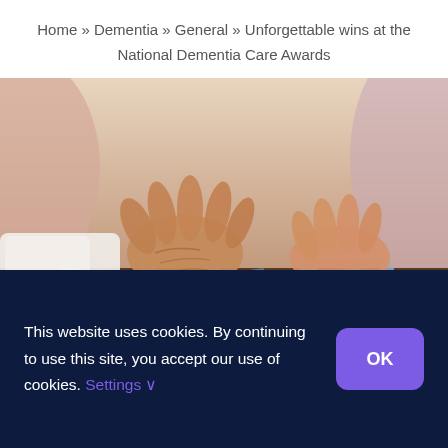Home » Dementia » General » Unforgettable wins at the National Dementia Care Awards
[Figure (photo): Close-up of elderly hands and a younger person's hands working together on a jigsaw puzzle on a table. The elderly person wears a white long-sleeve shirt. Background is soft/blurred.]
This website uses cookies. By continuing to use this site, you accept our use of cookies. Settings ∨